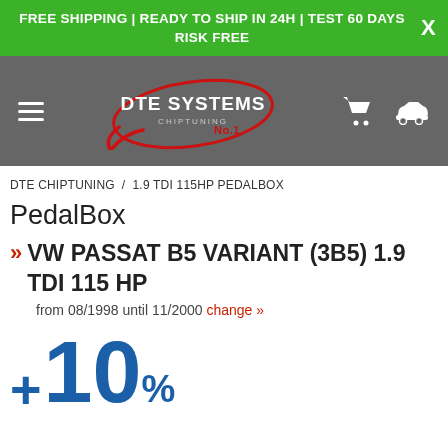FREE SHIPPING | READY TO SHIP IN 24H | TEST 60 DAYS RISK FREE
[Figure (logo): DTE Systems Chiptuning No.1 logo with red swoosh on dark grey navigation bar with hamburger menu, shopping cart and car icons]
DTE CHIPTUNING / 1.9 TDI 115HP PEDALBOX
PedalBox
» VW PASSAT B5 VARIANT (3B5) 1.9 TDI 115 HP
from 08/1998 until 11/2000 change »
+10%